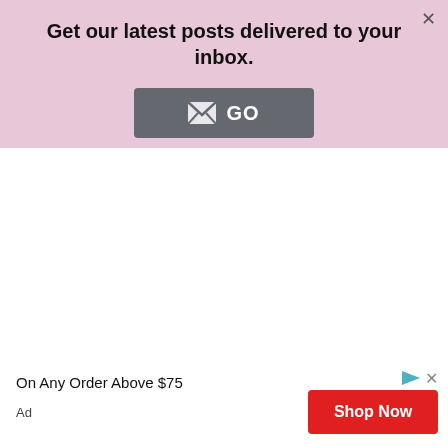Get our latest posts delivered to your inbox.
[Figure (other): A GO button with an envelope icon on a pink background]
On Any Order Above $75
[Figure (other): Shop Now advertisement button with play icon and close icon]
Ad